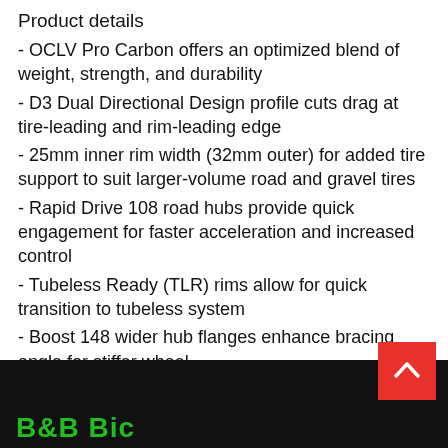Product details
- OCLV Pro Carbon offers an optimized blend of weight, strength, and durability
- D3 Dual Directional Design profile cuts drag at tire-leading and rim-leading edge
- 25mm inner rim width (32mm outer) for added tire support to suit larger-volume road and gravel tires
- Rapid Drive 108 road hubs provide quick engagement for faster acceleration and increased control
- Tubeless Ready (TLR) rims allow for quick transition to tubeless system
- Boost 148 wider hub flanges enhance bracing angle for stiffer wheel
- No rider weight limit
B&B Bicycles